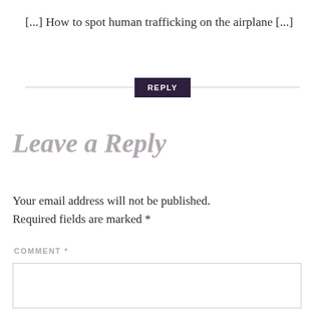[...] How to spot human trafficking on the airplane [...]
REPLY
Leave a Reply
Your email address will not be published. Required fields are marked *
COMMENT *